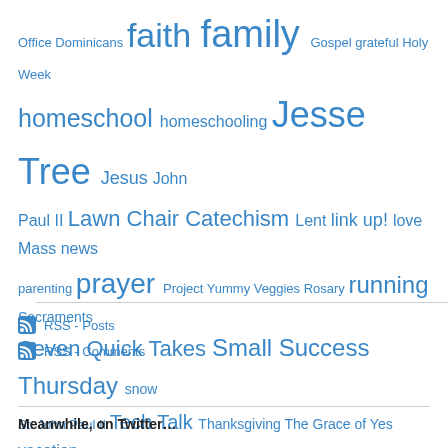[Figure (infographic): Tag cloud with various blog category links in different font sizes, all in blue color. Tags include: Office, Dominicans, faith, family, Gospel, grateful, Holy Week, homeschool, homeschooling, Jesse Tree, Jesus, John Paul II, Lawn Chair Catechism, Lent, link up!, love, Mass, news, parenting, prayer, Project Yummy Veggies, Rosary, running, Sacraments, Seven Quick Takes, Small Success Thursday, snow, St. John Paul II, Tech Talk, Thanksgiving, The Grace of Yes, vacation, vocation, Worth Revisit Wednesday, writing elsewhere, Year of Faith]
RSS - Posts
RSS - Comments
Meanwhile, on Twitter…